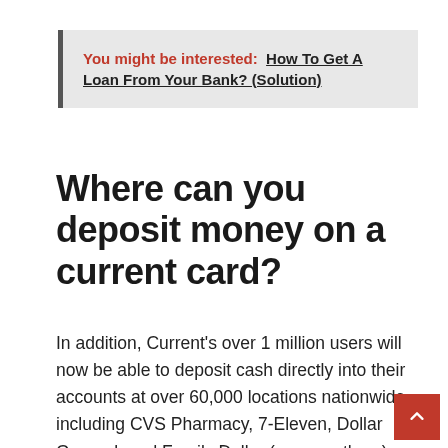You might be interested:  How To Get A Loan From Your Bank? (Solution)
Where can you deposit money on a current card?
In addition, Current’s over 1 million users will now be able to deposit cash directly into their accounts at over 60,000 locations nationwide, including CVS Pharmacy, 7-Eleven, Dollar General, and Family Dollar (among others). Was the payment made in cash? There’s no need to even go to an ATM to deposit your